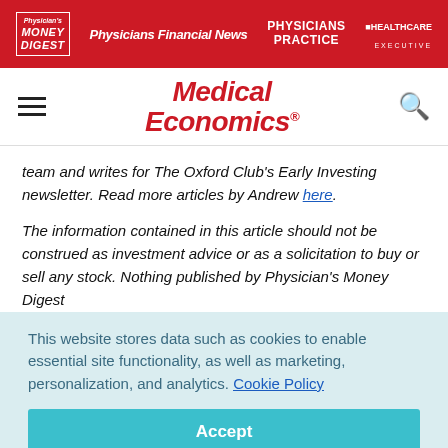Physician's Money Digest | Physicians Financial News | Physicians Practice | Healthcare Executive
[Figure (logo): Medical Economics logo with hamburger menu and search icon]
team and writes for The Oxford Club's Early Investing newsletter. Read more articles by Andrew here.
The information contained in this article should not be construed as investment advice or as a solicitation to buy or sell any stock. Nothing published by Physician's Money Digest
This website stores data such as cookies to enable essential site functionality, as well as marketing, personalization, and analytics. Cookie Policy
Accept
Deny